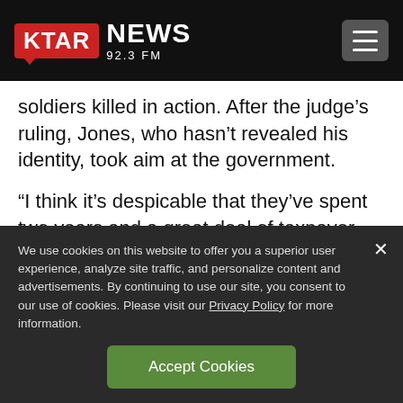KTAR NEWS 92.3 FM
soldiers killed in action. After the judge's ruling, Jones, who hasn't revealed his identity, took aim at the government.
“I think it’s despicable that they’ve spent two years and a great deal of taxpayer money on
We use cookies on this website to offer you a superior user experience, analyze site traffic, and personalize content and advertisements. By continuing to use our site, you consent to our use of cookies. Please visit our Privacy Policy for more information.
Accept Cookies